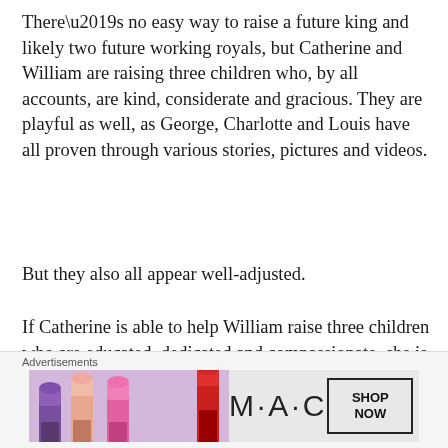There’s no easy way to raise a future king and likely two future working royals, but Catherine and William are raising three children who, by all accounts, are kind, considerate and gracious. They are playful as well, as George, Charlotte and Louis have all proven through various stories, pictures and videos.
But they also all appear well-adjusted.
If Catherine is able to help William raise three children who are educated, dedicated and compassionate, she is worth her weight in gold to the U.K.
[Figure (advertisement): MAC cosmetics advertisement showing lipsticks in purple, peach, pink and red colors with MAC logo and SHOP NOW button]
Advertisements